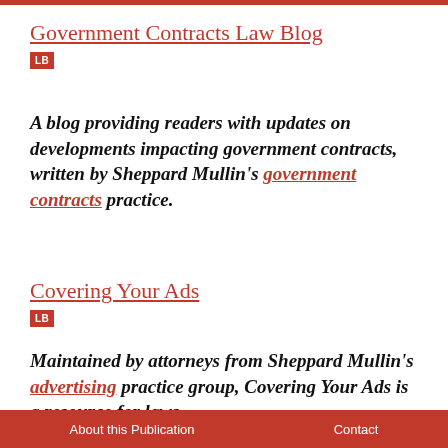Government Contracts Law Blog
[Figure (logo): Red square badge with white text 'LB']
A blog providing readers with updates on developments impacting government contracts, written by Sheppard Mullin's government contracts practice.
Covering Your Ads
[Figure (logo): Red square badge with white text 'LB']
Maintained by attorneys from Sheppard Mullin's advertising practice group, Covering Your Ads is a resource for laws
About this Publication    Contact